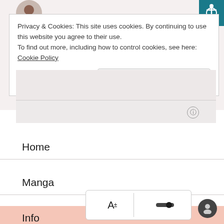[Figure (screenshot): Website screenshot showing cookie consent banner, accessibility icon, navigation menu items (Home, Manga, Info), and accessibility toolbar.]
Privacy & Cookies: This site uses cookies. By continuing to use this website you agree to their use.
To find out more, including how to control cookies, see here: Cookie Policy
Close and accept
Home
Manga
Info